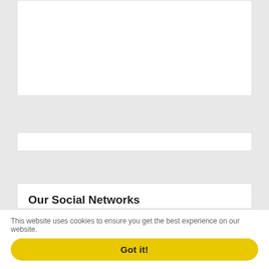Our Social Networks
7.2M Likes — Like (Facebook)
360K Followers — Follow (Instagram)
17K Followers — Follow (Pinterest)
7K Followers — Follow (Twitter)
This website uses cookies to ensure you get the best experience on our website.
Got it!